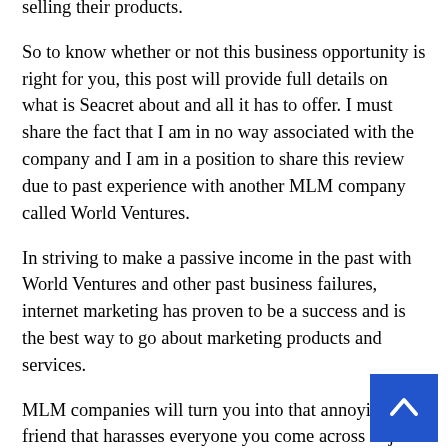selling their products.
So to know whether or not this business opportunity is right for you, this post will provide full details on what is Seacret about and all it has to offer. I must share the fact that I am in no way associated with the company and I am in a position to share this review due to past experience with another MLM company called World Ventures.
In striving to make a passive income in the past with World Ventures and other past business failures, internet marketing has proven to be a success and is the best way to go about marketing products and services.
MLM companies will turn you into that annoying friend that harasses everyone you come across to join or buy your products.
It's a known fact that there is a low success rate for members within Multi-Level Marketing Businesses and if you consider joining it would be in your best interest to learn everything you